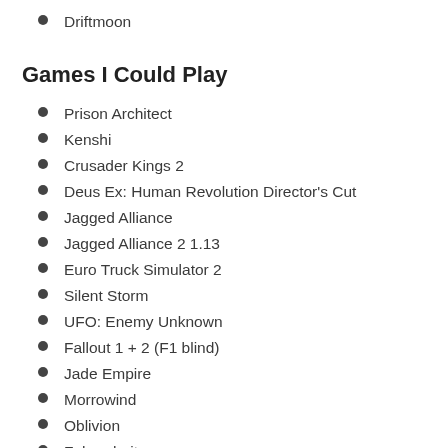Driftmoon
Games I Could Play
Prison Architect
Kenshi
Crusader Kings 2
Deus Ex: Human Revolution Director's Cut
Jagged Alliance
Jagged Alliance 2 1.13
Euro Truck Simulator 2
Silent Storm
UFO: Enemy Unknown
Fallout 1 + 2 (F1 blind)
Jade Empire
Morrowind
Oblivion
Fahrenheit